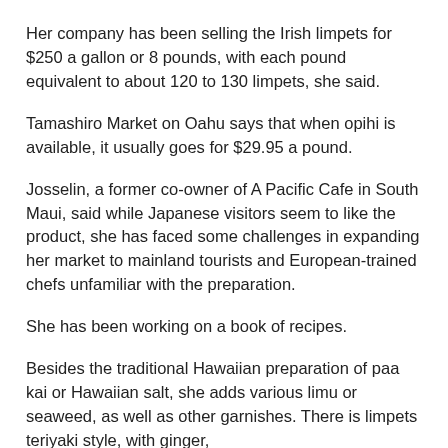Her company has been selling the Irish limpets for $250 a gallon or 8 pounds, with each pound equivalent to about 120 to 130 limpets, she said.
Tamashiro Market on Oahu says that when opihi is available, it usually goes for $29.95 a pound.
Josselin, a former co-owner of A Pacific Cafe in South Maui, said while Japanese visitors seem to like the product, she has faced some challenges in expanding her market to mainland tourists and European-trained chefs unfamiliar with the preparation.
She has been working on a book of recipes.
Besides the traditional Hawaiian preparation of paa kai or Hawaiian salt, she adds various limu or seaweed, as well as other garnishes. There is limpets teriyaki style, with ginger,